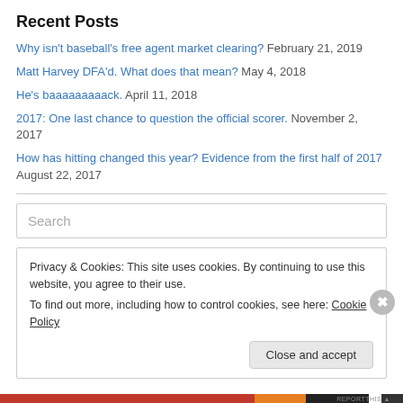Recent Posts
Why isn't baseball's free agent market clearing? February 21, 2019
Matt Harvey DFA'd. What does that mean? May 4, 2018
He's baaaaaaaaack. April 11, 2018
2017: One last chance to question the official scorer. November 2, 2017
How has hitting changed this year? Evidence from the first half of 2017 August 22, 2017
Search
Privacy & Cookies: This site uses cookies. By continuing to use this website, you agree to their use. To find out more, including how to control cookies, see here: Cookie Policy